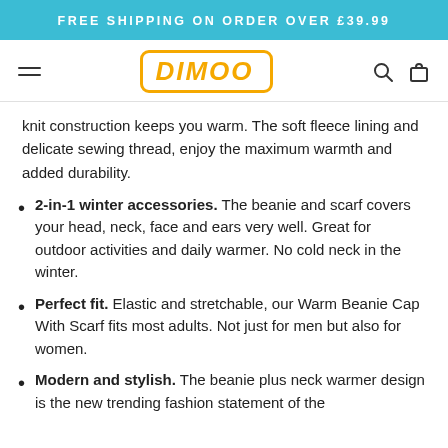FREE SHIPPING ON ORDER OVER £39.99
[Figure (logo): DIMOO brand logo in orange with border, hamburger menu icon on left, search and bag icons on right]
knit construction keeps you warm. The soft fleece lining and delicate sewing thread, enjoy the maximum warmth and added durability.
2-in-1 winter accessories. The beanie and scarf covers your head, neck, face and ears very well. Great for outdoor activities and daily warmer. No cold neck in the winter.
Perfect fit. Elastic and stretchable, our Warm Beanie Cap With Scarf fits most adults. Not just for men but also for women.
Modern and stylish. The beanie plus neck warmer design is the new trending fashion statement of the